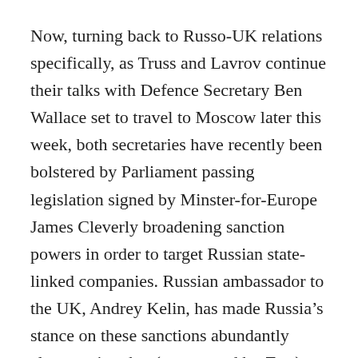Now, turning back to Russo-UK relations specifically, as Truss and Lavrov continue their talks with Defence Secretary Ben Wallace set to travel to Moscow later this week, both secretaries have recently been bolstered by Parliament passing legislation signed by Minster-for-Europe James Cleverly broadening sanction powers in order to target Russian state-linked companies. Russian ambassador to the UK, Andrey Kelin, has made Russia's stance on these sanctions abundantly clear, stating that (as reported by Tass): “If they’re coming to Russia to threaten us again with sanctions then it is fairly pointless: we read